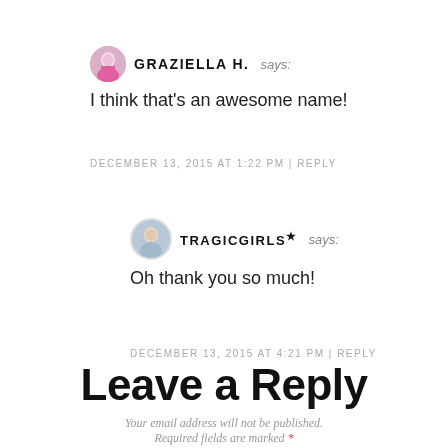GRAZIELLA H. says: I think that's an awesome name!
DECEMBER 13, 2015 AT 1:22 PM | REPLY
TRAGICGIRLS★ says: Oh thank you so much!
DECEMBER 13, 2015 AT 4:21 PM | REPLY
Leave a Reply
Your email address will not be published. Required fields are marked *